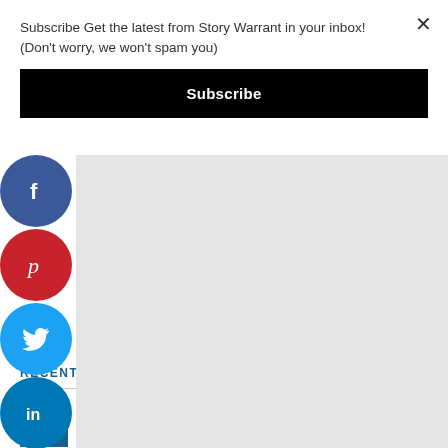Subscribe Get the latest from Story Warrant in your inbox! (Don't worry, we won't spam you)
Subscribe
[Figure (other): Social sharing buttons: Facebook (blue circle), Pinterest (red circle), Twitter (cyan circle), LinkedIn (dark blue circle), arranged vertically on the left side]
[Figure (other): Gray advertisement or media content area]
RECENT COMMENTS
Lesley Skellly on BANNED: Calif. Store Finally Realizes Thieves are Hiding Behind COVID Masks, Bans Them: